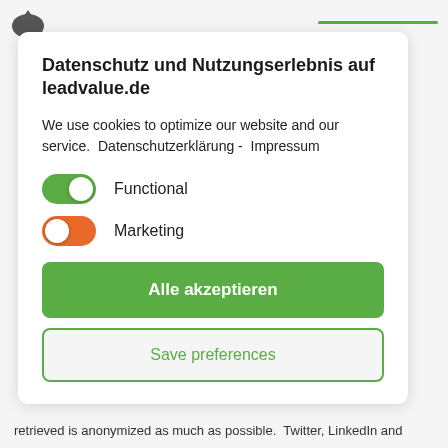leadvalue.de header with logo and green line
Datenschutz und Nutzungserlebnis auf leadvalue.de
We use cookies to optimize our website and our service.  Datenschutzerklärung -  Impressum
Functional (toggle on, green)
Marketing (toggle on, orange)
Alle akzeptieren
Save preferences
retrieved is anonymized as much as possible.  Twitter, LinkedIn and